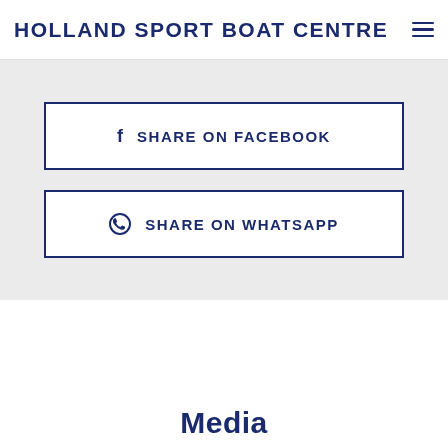HOLLAND SPORT BOAT CENTRE
SHARE ON FACEBOOK
SHARE ON WHATSAPP
Media